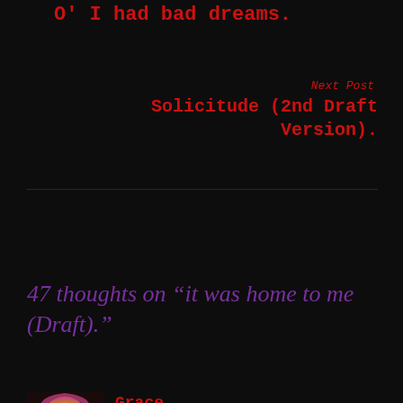O' I had bad dreams.
Next Post
Solicitude (2nd Draft Version).
47 thoughts on “it was home to me (Draft).”
Grace
December 16, 2021   Reply
I can imagine your story unraveling as